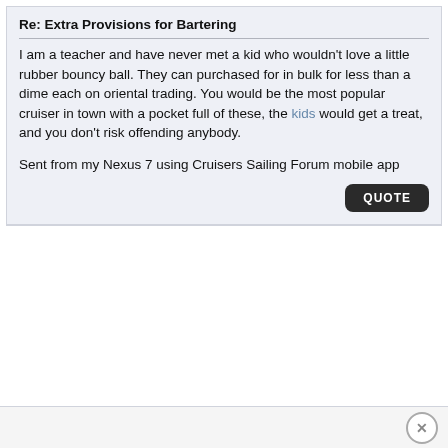Re: Extra Provisions for Bartering
I am a teacher and have never met a kid who wouldn't love a little rubber bouncy ball. They can purchased for in bulk for less than a dime each on oriental trading. You would be the most popular cruiser in town with a pocket full of these, the kids would get a treat, and you don't risk offending anybody.
Sent from my Nexus 7 using Cruisers Sailing Forum mobile app